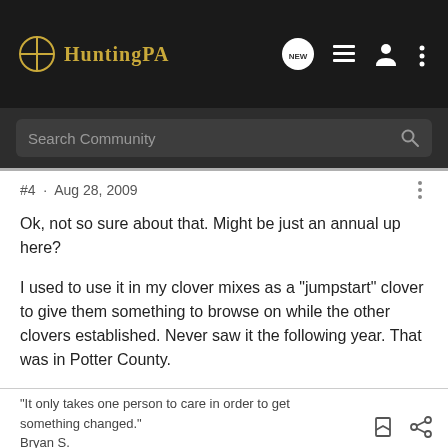HuntingPA
Search Community
#4 · Aug 28, 2009
Ok, not so sure about that. Might be just an annual up here?
I used to use it in my clover mixes as a "jumpstart" clover to give them something to browse on while the other clovers established. Never saw it the following year. That was in Potter County.
"It only takes one person to care in order to get something changed."
Bryan S.